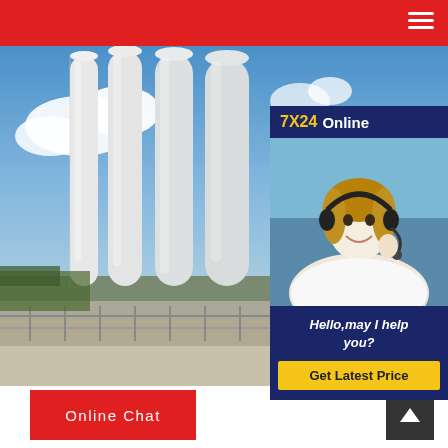Navigation bar with menu icon
[Figure (photo): Industrial facility with tall white cylindrical silos/chimneys against a blue sky with clouds. Red and glass building in background. Concrete walkway and metal railings in foreground.]
[Figure (infographic): 7X24 Online support panel overlay with customer service agent photo, text 'Hello,may I help you?' and 'Get Latest Price' button on dark blue background]
7X24 Online
Hello,may I help you?
Get Latest Price
Online Chat